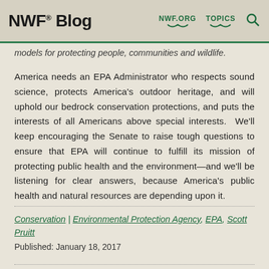NWF® Blog  NWF.ORG  TOPICS
models for protecting people, communities and wildlife.
America needs an EPA Administrator who respects sound science, protects America's outdoor heritage, and will uphold our bedrock conservation protections, and puts the interests of all Americans above special interests. We'll keep encouraging the Senate to raise tough questions to ensure that EPA will continue to fulfill its mission of protecting public health and the environment—and we'll be listening for clear answers, because America's public health and natural resources are depending upon it.
Conservation | Environmental Protection Agency, EPA, Scott Pruitt
Published: January 18, 2017